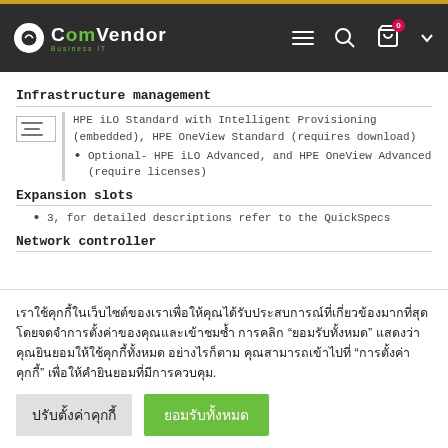ComVendor Business IT - Navigation bar
Infrastructure management
HPE iLO Standard with Intelligent Provisioning (embedded), HPE OneView Standard (requires download)
Optional- HPE iLO Advanced, and HPE OneView Advanced (require licenses)
Expansion slots
3, for detailed descriptions refer to the QuickSpecs
Network controller
เราใช้คุกกี้ในเว็บไซต์ของเราเพื่อให้คุณได้รับประสบการณ์ที่เกี่ยวข้องมากที่สุดโดยจดจำการตั้งค่าของคุณและเข้าชมซ้ำ การคลิก "ยอมรับทั้งหมด" แสดงว่าคุณยินยอมให้ใช้คุกกี้ทั้งหมด อย่างไรก็ตาม คุณสามารถเข้าไปที่ "การตั้งค่าคุกกี้" เพื่อให้คำยินยอมที่มีการควบคุม.
ปรับตั้งค่าคุกกี้ | ยอมรับทั้งหมด